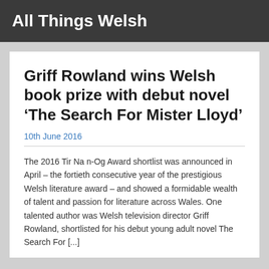All Things Welsh
Griff Rowland wins Welsh book prize with debut novel ‘The Search For Mister Lloyd’
10th June 2016
The 2016 Tir Na n-Og Award shortlist was announced in April – the fortieth consecutive year of the prestigious Welsh literature award – and showed a formidable wealth of talent and passion for literature across Wales. One talented author was Welsh television director Griff Rowland, shortlisted for his debut young adult novel The Search For [...]